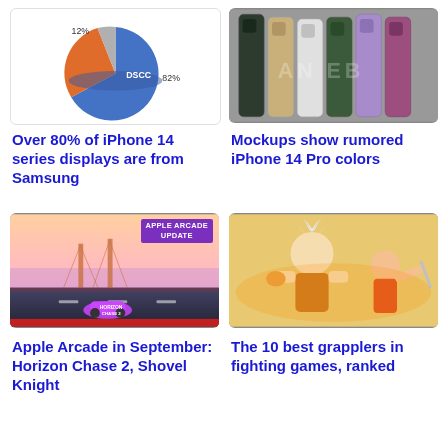[Figure (pie-chart): iPhone 14 series display suppliers]
[Figure (photo): Mockup image showing iPhone 14 Pro in various colors lined up side by side]
Over 80% of iPhone 14 series displays are from Samsung
Mockups show rumored iPhone 14 Pro colors
[Figure (screenshot): Apple Arcade game Horizon Chase 2 screenshot with APPLE ARCADE UPDATE banner overlay]
[Figure (illustration): Fighting game characters illustration for article about best grapplers in fighting games]
Apple Arcade in September: Horizon Chase 2, Shovel Knight
The 10 best grapplers in fighting games, ranked